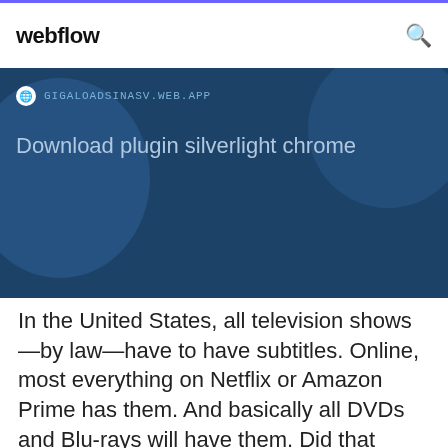webflow
[Figure (screenshot): Dark blue banner with URL bar showing GIGALOADSINASV.WEB.APP and text 'Download plugin silverlight chrome']
In the United States, all television shows—by law—have to have subtitles. Online, most everything on Netflix or Amazon Prime has them. And basically all DVDs and Blu-rays will have them. Did that answer your question? I work in a law office, and t Jun 4, 2019 Free movie The Help (2011) with English